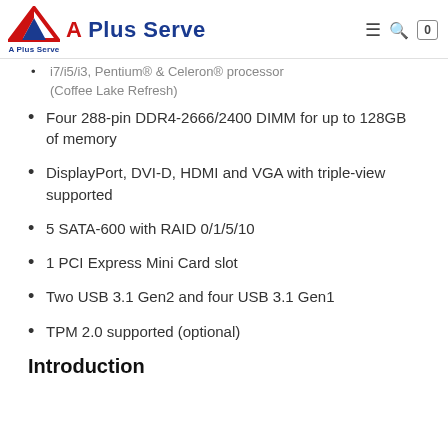A Plus Serve
i7/i5/i3, Pentium® & Celeron® processor (Coffee Lake Refresh)
Four 288-pin DDR4-2666/2400 DIMM for up to 128GB of memory
DisplayPort, DVI-D, HDMI and VGA with triple-view supported
5 SATA-600 with RAID 0/1/5/10
1 PCI Express Mini Card slot
Two USB 3.1 Gen2 and four USB 3.1 Gen1
TPM 2.0 supported (optional)
Introduction